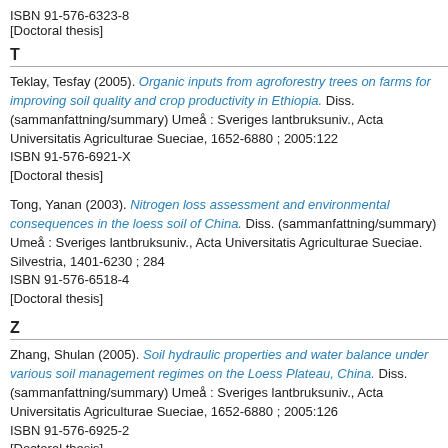ISBN 91-576-6323-8
[Doctoral thesis]
T
Teklay, Tesfay (2005). Organic inputs from agroforestry trees on farms for improving soil quality and crop productivity in Ethiopia. Diss. (sammanfattning/summary) Umeå : Sveriges lantbruksuniv., Acta Universitatis Agriculturae Sueciae, 1652-6880 ; 2005:122
ISBN 91-576-6921-X
[Doctoral thesis]
Tong, Yanan (2003). Nitrogen loss assessment and environmental consequences in the loess soil of China. Diss. (sammanfattning/summary) Umeå : Sveriges lantbruksuniv., Acta Universitatis Agriculturae Sueciae. Silvestria, 1401-6230 ; 284
ISBN 91-576-6518-4
[Doctoral thesis]
Z
Zhang, Shulan (2005). Soil hydraulic properties and water balance under various soil management regimes on the Loess Plateau, China. Diss. (sammanfattning/summary) Umeå : Sveriges lantbruksuniv., Acta Universitatis Agriculturae Sueciae, 1652-6880 ; 2005:126
ISBN 91-576-6925-2
[Doctoral thesis]